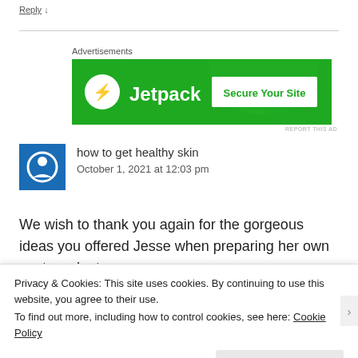Reply ↓
[Figure (screenshot): Jetpack advertisement banner with green background, Jetpack logo on left and 'Secure Your Site' button on right]
REPORT THIS AD
how to get healthy skin
October 1, 2021 at 12:03 pm
We wish to thank you again for the gorgeous ideas you offered Jesse when preparing her own post-graduate
Privacy & Cookies: This site uses cookies. By continuing to use this website, you agree to their use.
To find out more, including how to control cookies, see here: Cookie Policy
Close and accept